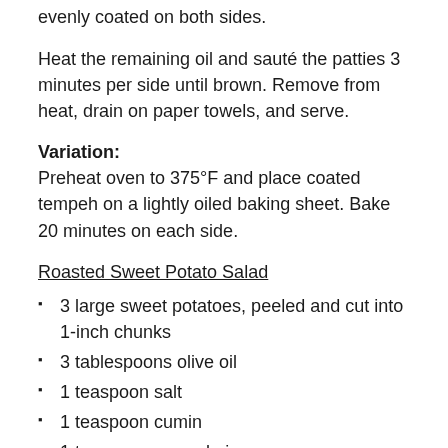evenly coated on both sides.
Heat the remaining oil and sauté the patties 3 minutes per side until brown. Remove from heat, drain on paper towels, and serve.
Variation:
Preheat oven to 375°F and place coated tempeh on a lightly oiled baking sheet. Bake 20 minutes on each side.
Roasted Sweet Potato Salad
3 large sweet potatoes, peeled and cut into 1-inch chunks
3 tablespoons olive oil
1 teaspoon salt
1 teaspoon cumin
1 teaspoon ground ginger